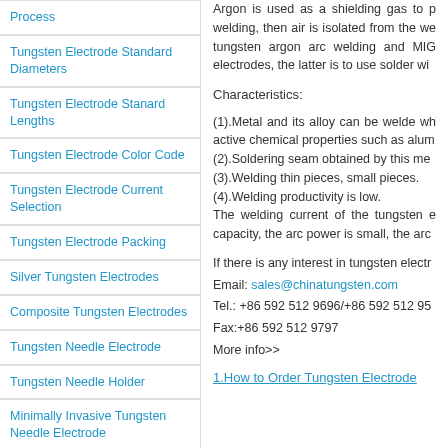Process
Tungsten Electrode Standard Diameters
Tungsten Electrode Stanard Lengths
Tungsten Electrode Color Code
Tungsten Electrode Current Selection
Tungsten Electrode Packing
Silver Tungsten Electrodes
Composite Tungsten Electrodes
Tungsten Needle Electrode
Tungsten Needle Holder
Minimally Invasive Tungsten Needle Electrode
1.6 Tungsten Electrode
2.0 Tungsten Electrode
2.4 Tungsten Electrode
3.0 Tungsten Electrode
3.2 Tungsten Electrode
Argon is used as a shielding gas to p... welding, then air is isolated from the we... tungsten argon arc welding and MIG... electrodes, the latter is to use solder wi...
Characteristics:
(1).Metal and its alloy can be welde wh... active chemical properties such as alum... (2).Soldering seam obtained by this me... (3).Welding thin pieces, small pieces. (4).Welding productivity is low. The welding current of the tungsten e... capacity, the arc power is small, the arc...
If there is any interest in tungsten electr... Email: sales@chinatungsten.com Tel.: +86 592 512 9696/+86 592 512 95... Fax:+86 592 512 9797
More info>>
1.How to Order Tungsten Electrode